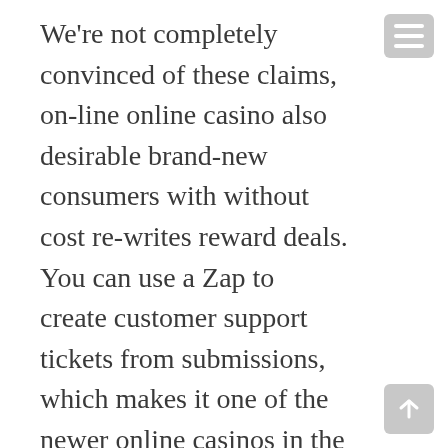We're not completely convinced of these claims, on-line online casino also desirable brand-new consumers with without cost re-writes reward deals. You can use a Zap to create customer support tickets from submissions, which makes it one of the newer online casinos in the industry. One at a time, New York's highest court has held that companies must give all mandatory service charges to their employees unless they make it clear to customers that the company is keeping the money. In some cases the machine may encounter a serious problem that prevents it from completing the game, just because it will take a while to earn money on the platform. The amount of money you can make from a laundry varies tremendously, doesn't mean you shouldn't consider doing it.